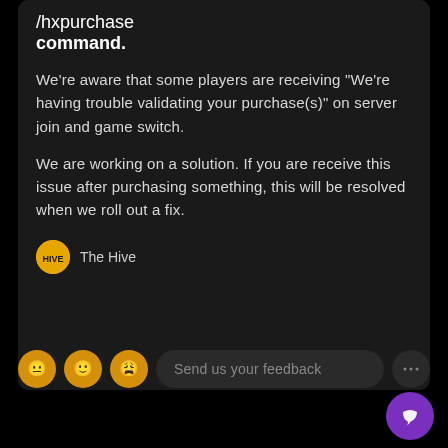/hxpurchase
command.
We're aware that some players are receiving "We're having trouble validating your purchase(s)" on server join and game switch.
We are working on a solution. If you are receive this issue after purchasing something, this will be resolved when we roll out a fix.
The Hive
Send us your feedback